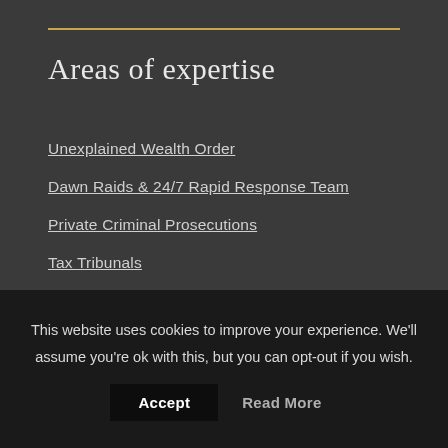Areas of expertise
Unexplained Wealth Order
Dawn Raids & 24/7 Rapid Response Team
Private Criminal Prosecutions
Tax Tribunals
Civil Fraud & Asset Recovery
Civil Recovery & Property Freezing Order
Sports Law & Management
This website uses cookies to improve your experience. We'll assume you're ok with this, but you can opt-out if you wish.
Accept
Read More